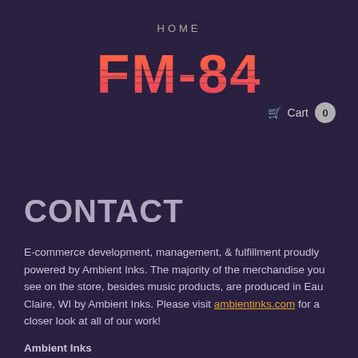HOME
FM-84
Cart 0
CONTACT
E-commerce development, management, & fulfillment proudly powered by Ambient Inks. The majority of the merchandise you see on the store, besides music products, are produced in Eau Claire, WI by Ambient Inks. Please visit ambientinks.com for a closer look at all of our work!
Ambient Inks